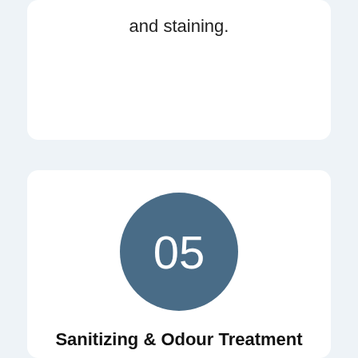and staining.
[Figure (infographic): Circle with number 05 inside, dark steel blue background]
Sanitizing & Odour Treatment
Finally, we carefully sanitize all floor surfaces to prevent any future microbes or mildew development. We use only cleaning